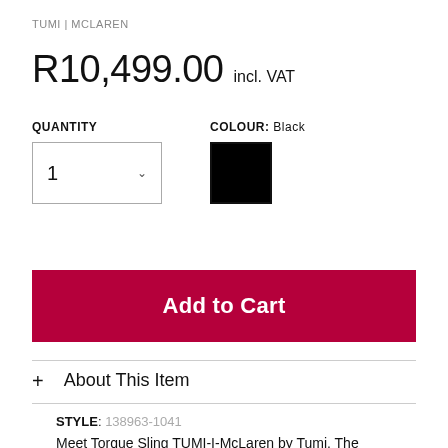TUMI | MCLAREN
R10,499.00 incl. VAT
QUANTITY
COLOUR: Black
Add to Cart
+ About This Item
STYLE: 138963-1041
Meet Torque Sling TUMI-I-McLaren by Tumi. The